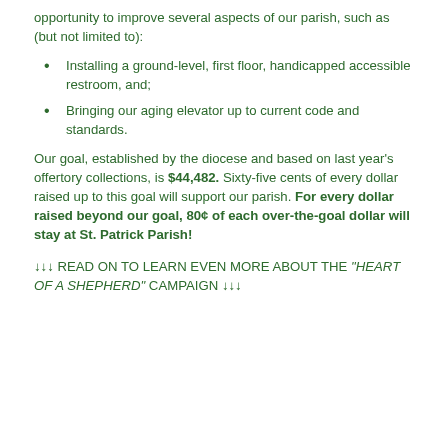opportunity to improve several aspects of our parish, such as (but not limited to):
Installing a ground-level, first floor, handicapped accessible restroom, and;
Bringing our aging elevator up to current code and standards.
Our goal, established by the diocese and based on last year's offertory collections, is $44,482. Sixty-five cents of every dollar raised up to this goal will support our parish. For every dollar raised beyond our goal, 80¢ of each over-the-goal dollar will stay at St. Patrick Parish!
↓↓↓ READ ON TO LEARN EVEN MORE ABOUT THE "HEART OF A SHEPHERD" CAMPAIGN ↓↓↓